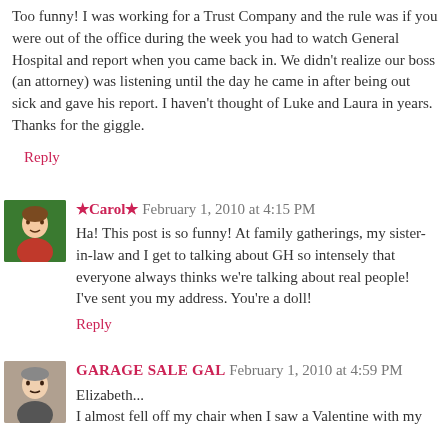Too funny! I was working for a Trust Company and the rule was if you were out of the office during the week you had to watch General Hospital and report when you came back in. We didn't realize our boss (an attorney) was listening until the day he came in after being out sick and gave his report. I haven't thought of Luke and Laura in years. Thanks for the giggle.
Reply
★Carol★  February 1, 2010 at 4:15 PM
Ha! This post is so funny! At family gatherings, my sister-in-law and I get to talking about GH so intensely that everyone always thinks we're talking about real people!
I've sent you my address. You're a doll!
Reply
GARAGE SALE GAL  February 1, 2010 at 4:59 PM
Elizabeth...
I almost fell off my chair when I saw a Valentine with my